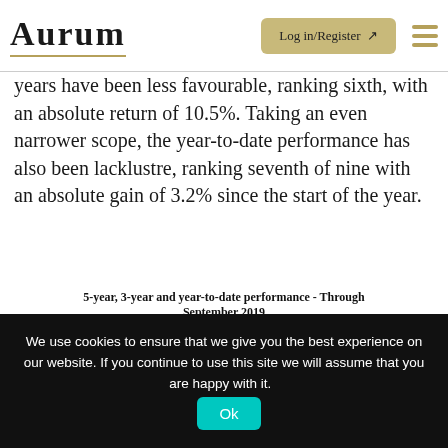AURUM | Log in/Register
years have been less favourable, ranking sixth, with an absolute return of 10.5%. Taking an even narrower scope, the year-to-date performance has also been lacklustre, ranking seventh of nine with an absolute gain of 3.2% since the start of the year.
[Figure (grouped-bar-chart): 5-year, 3-year and year-to-date performance - Through September 2019]
We use cookies to ensure that we give you the best experience on our website. If you continue to use this site we will assume that you are happy with it.